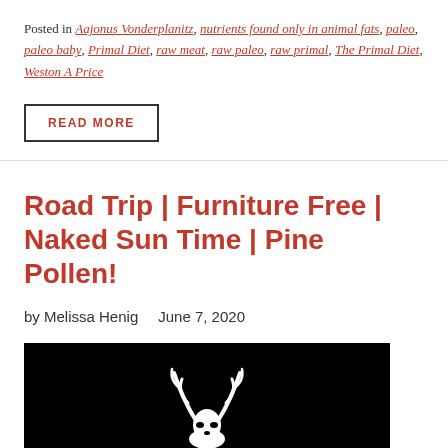Posted in Aajonus Vonderplanitz, nutrients found only in animal fats, paleo, paleo baby, Primal Diet, raw meat, raw paleo, raw primal, The Primal Diet, Weston A Price
READ MORE
Road Trip | Furniture Free | Naked Sun Time | Pine Pollen!
by Melissa Henig   June 7, 2020
[Figure (photo): Black background image with a white deer skull/antler illustration above gold text reading 'PINE POLLEN' and partially visible text 'PREMIER' below]